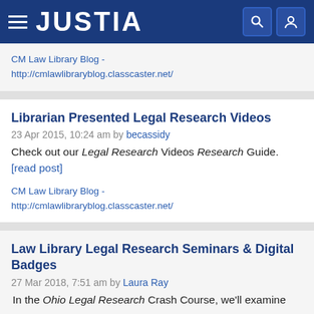JUSTIA
CM Law Library Blog - http://cmlawlibraryblog.classcaster.net/
Librarian Presented Legal Research Videos
23 Apr 2015, 10:24 am by becassidy
Check out our Legal Research Videos Research Guide. [read post]
CM Law Library Blog - http://cmlawlibraryblog.classcaster.net/
Law Library Legal Research Seminars & Digital Badges
27 Mar 2018, 7:51 am by Laura Ray
In the Ohio Legal Research Crash Course, we'll examine